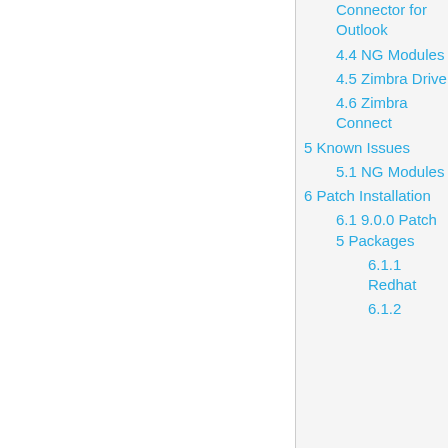Connector for Outlook
4.4 NG Modules
4.5 Zimbra Drive
4.6 Zimbra Connect
5 Known Issues
5.1 NG Modules
6 Patch Installation
6.1 9.0.0 Patch 5 Packages
6.1.1 Redhat
6.1.2